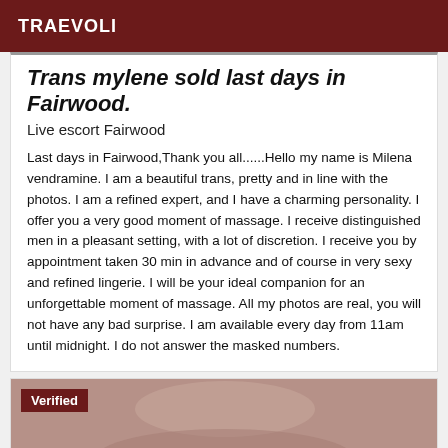TRAEVOLI
Trans mylene sold last days in Fairwood.
Live escort Fairwood
Last days in Fairwood,Thank you all......Hello my name is Milena vendramine. I am a beautiful trans, pretty and in line with the photos. I am a refined expert, and I have a charming personality. I offer you a very good moment of massage. I receive distinguished men in a pleasant setting, with a lot of discretion. I receive you by appointment taken 30 min in advance and of course in very sexy and refined lingerie. I will be your ideal companion for an unforgettable moment of massage. All my photos are real, you will not have any bad surprise. I am available every day from 11am until midnight. I do not answer the masked numbers.
[Figure (photo): Verified photo strip at bottom of page showing a person, with a dark red 'Verified' badge overlay in top-left corner]